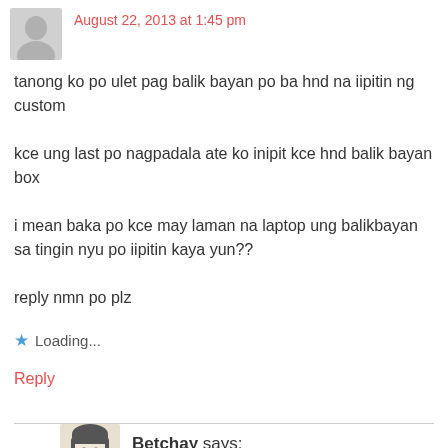[Figure (illustration): Gray default user avatar icon (silhouette of a person)]
August 22, 2013 at 1:45 pm
tanong ko po ulet pag balik bayan po ba hnd na iipitin ng custom

kce ung last po nagpadala ate ko inipit kce hnd balik bayan box

i mean baka po kce may laman na laptop ung balikbayan sa tingin nyu po iipitin kaya yun??

reply nmn po plz
Loading...
Reply
[Figure (illustration): Cartoon avatar of Betchay, a woman with dark hair]
Betchay says: